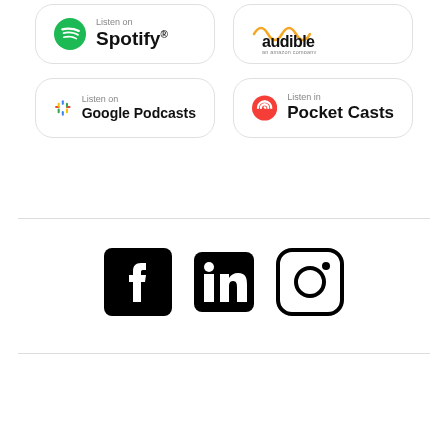[Figure (logo): Spotify 'Listen on Spotify' badge with green Spotify logo]
[Figure (logo): Audible 'an amazon company' badge with orange Audible logo]
[Figure (logo): Google Podcasts 'Listen on Google Podcasts' badge with colorful microphone logo]
[Figure (logo): Pocket Casts 'Listen in Pocket Casts' badge with red swirl logo]
[Figure (logo): Social media icons row: Facebook, LinkedIn, Instagram]